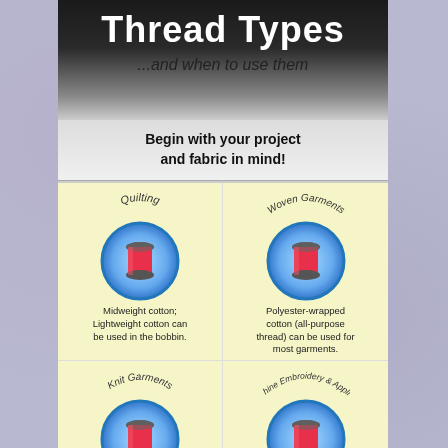Thread Types
...and when to use them
Begin with your project and fabric in mind!
[Figure (infographic): Four thread spool illustrations labeled Quilting, Woven Garments, Knit Garments, Machine Embroidery & Applique, each with a red spool icon on a blue glowing circular background]
Quilting: Midweight cotton; Lightweight cotton can be used in the bobbin.
Woven Garments: Polyester-wrapped cotton (all-purpose thread) can be used for most garments.
Knit Garments: Midweight polyester; Woolly nylon or other
Machine Embroidery & Applique: Rayon and polyester are the best. Thread